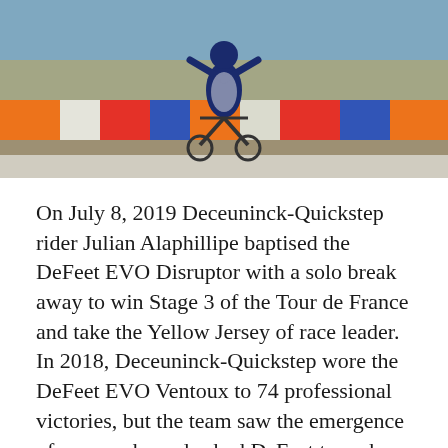[Figure (photo): A cyclist (Julian Alaphillipe) riding at the Tour de France, with spectators in the background waving colorful flags and banners.]
On July 8, 2019 Deceuninck-Quickstep rider Julian Alaphillipe baptised the DeFeet EVO Disruptor with a solo break away to win Stage 3 of the Tour de France and take the Yellow Jersey of race leader. In 2018, Deceuninck-Quickstep wore the DeFeet EVO Ventoux to 74 professional victories, but the team saw the emergence of aero socks and asked DeFeet to make its own version.
“Our designs were winning the big races, but riders kept asking for a special aerodynamic model.” said DeFeet Founder and Chief